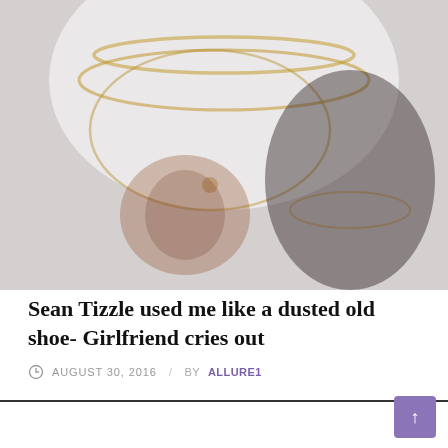[Figure (photo): A person wearing a white t-shirt with a tiger graphic print, gold chain necklaces, photographed from the neck/chest area. A dark silhouette figure appears on the right side.]
Sean Tizzle used me like a dusted old shoe- Girlfriend cries out
AUGUST 30, 2016 / BY ALLURE1